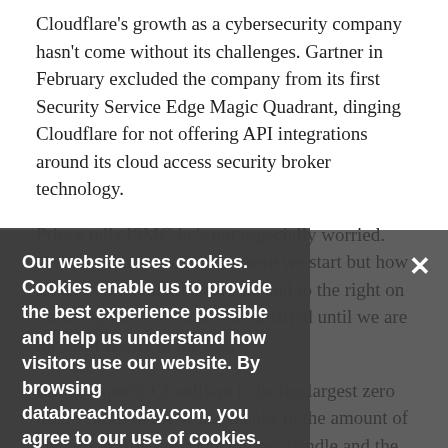Cloudflare's growth as a cybersecurity company hasn't come without its challenges. Gartner in February excluded the company from its first Security Service Edge Magic Quadrant, dinging Cloudflare for not offering API integrations around its cloud access security broker technology.
Prince tells ISMG he's not especially worried. "What we measure is not where we start but how much every year we move up and to the right on those reports. 'We won't be satisfied until we are the clear leader in the space.'"
Prince expects Cloudflare to be the largest zero trust vendor in the world thanks to the amount of network traffic the company can handle and the tight integration between the command and forward proxy and reverse proxy services. "The Cloudflare Zero Trust platform makes it easy for us to inspect packets, stop threats from coming through and understand what's going on at our…"
Our website uses cookies. Cookies enable us to provide the best experience possible and help us understand how visitors use our website. By browsing databreachtoday.com, you agree to our use of cookies.